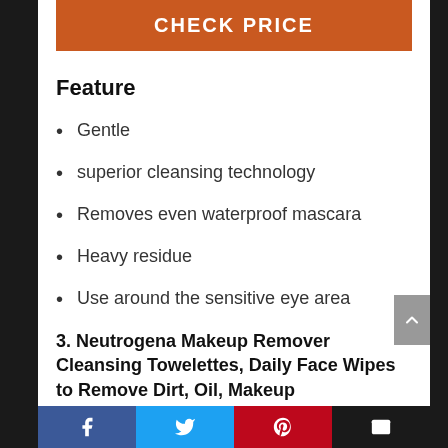[Figure (other): Orange CHECK PRICE button]
Feature
Gentle
superior cleansing technology
Removes even waterproof mascara
Heavy residue
Use around the sensitive eye area
3. Neutrogena Makeup Remover Cleansing Towelettes, Daily Face Wipes to Remove Dirt, Oil, Makeup
[Figure (other): Social share bar with Facebook, Twitter, Pinterest, and Email buttons]